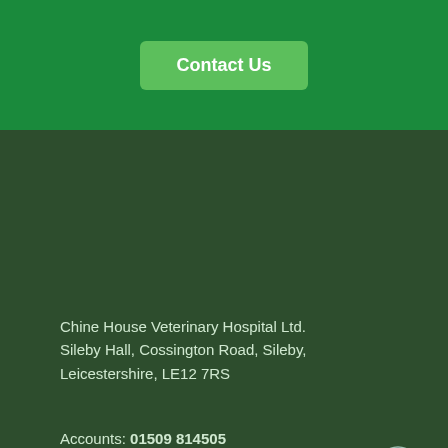[Figure (other): Green banner with a Contact Us button]
Chine House Veterinary Hospital Ltd.
Sileby Hall, Cossington Road, Sileby,
Leicestershire, LE12 7RS
Accounts: 01509 814505
enquiries@chinehousevets.co.uk
Privacy Policy